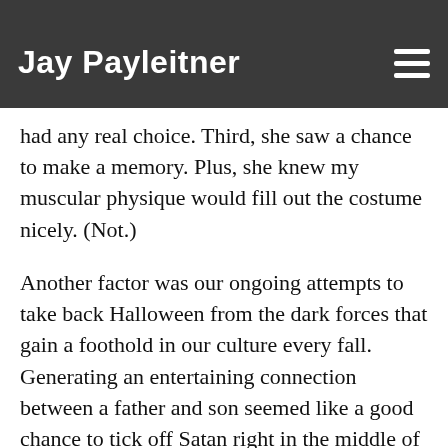Jay Payleitner
had any real choice. Third, she saw a chance to make a memory. Plus, she knew my muscular physique would fill out the costume nicely. (Not.)
Another factor was our ongoing attempts to take back Halloween from the dark forces that gain a foothold in our culture every fall. Generating an entertaining connection between a father and son seemed like a good chance to tick off Satan right in the middle of his favorite